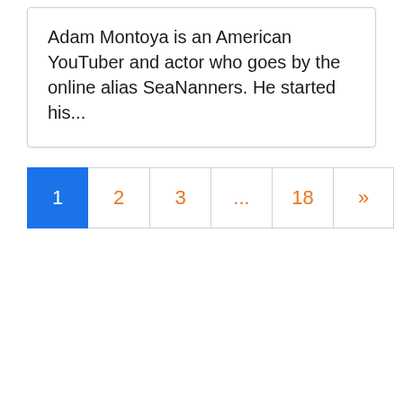Adam Montoya is an American YouTuber and actor who goes by the online alias SeaNanners. He started his...
[Figure (other): Pagination control with buttons: 1 (active, blue), 2, 3, ..., 18, »]